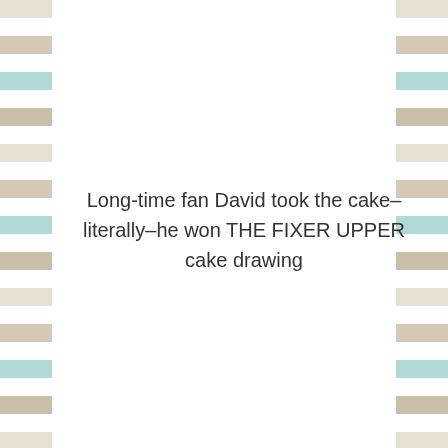Long-time fan David took the cake–literally–he won THE FIXER UPPER cake drawing